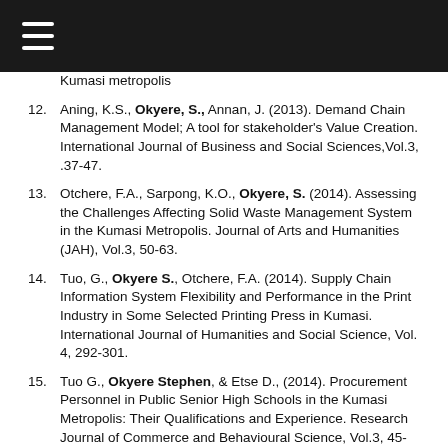Kumasi metropolis
12. Aning, K.S., Okyere, S., Annan, J. (2013). Demand Chain Management Model; A tool for stakeholder's Value Creation. International Journal of Business and Social Sciences,Vol.3, .37-47.
13. Otchere, F.A., Sarpong, K.O., Okyere, S. (2014). Assessing the Challenges Affecting Solid Waste Management System in the Kumasi Metropolis. Journal of Arts and Humanities (JAH), Vol.3, 50-63.
14. Tuo, G., Okyere S., Otchere, F.A. (2014). Supply Chain Information System Flexibility and Performance in the Print Industry in Some Selected Printing Press in Kumasi. International Journal of Humanities and Social Science, Vol. 4, 292-301.
15. Tuo G., Okyere Stephen, & Etse D., (2014). Procurement Personnel in Public Senior High Schools in the Kumasi Metropolis: Their Qualifications and Experience. Research Journal of Commerce and Behavioural Science, Vol.3, 45-51.
16. Tuo G., Okyere Stephen., Etse, D. (2014). Identifying enablers and inhibitors of Collaborative Procurement in public second-cycle schools: A study of schools in Kumasi Metropolis. Research